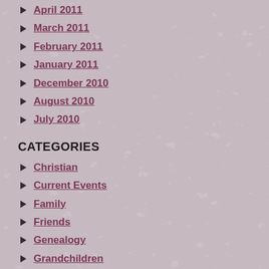April 2011
March 2011
February 2011
January 2011
December 2010
August 2010
July 2010
CATEGORIES
Christian
Current Events
Family
Friends
Genealogy
Grandchildren
Health
History
Humor
Kids
Loss
Love